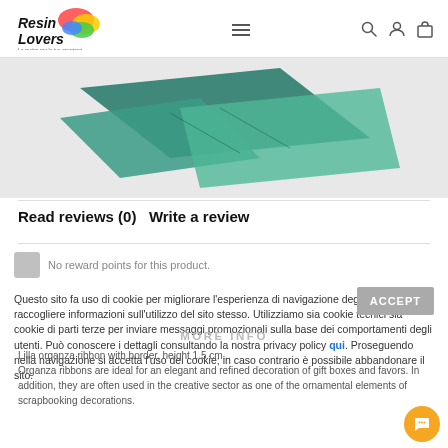Resin Lovers - La resina per le tue creazioni
[Figure (photo): Teal/green origami or folded paper box shapes on white background, partially visible]
Read reviews (0)   Write a review
No reward points for this product.
Questo sito fa uso di cookie per migliorare l'esperienza di navigazione degli utenti e per raccogliere informazioni sull'utilizzo del sito stesso. Utilizziamo sia cookie tecnici sia cookie di parti terze per inviare messaggi promozionali sulla base dei comportamenti degli utenti. Può conoscere i dettagli consultando la nostra privacy policy qui. Proseguendo nella navigazione si accetta l'uso dei cookie; in caso contrario è possibile abbandonare il sito.
Lilla organza ribbon with border, height 1.5 cm...
Organza ribbons are ideal for an elegant and refined decoration of gift boxes and favors. In addition, they are often used in the creative sector as one of the ornamental elements of scrapbooking decorations.